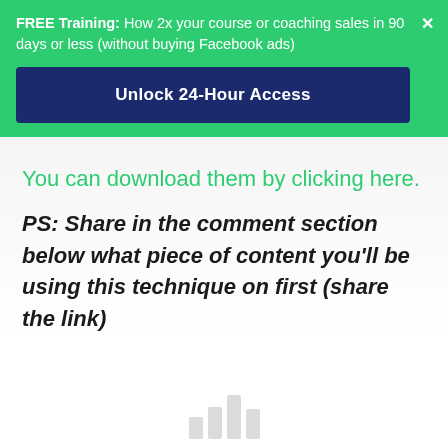FREE Training: How 2x your course or coaching sales in 90 days or less (without buying Facebook ads)
Unlock 24-Hour Access
You can download them by clicking here.
PS: Share in the comment section below what piece of content you'll be using this technique on first (share the link)
[Figure (other): Loading/bar chart icon with grey vertical bars of increasing height]